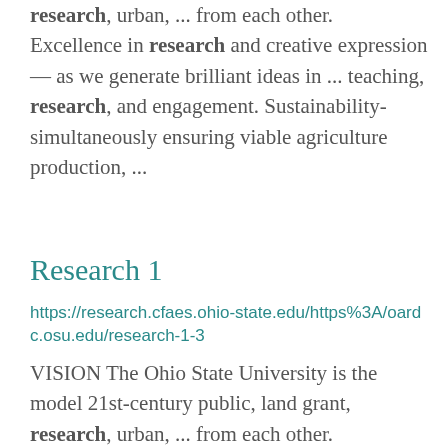research, urban, ... from each other. Excellence in research and creative expression — as we generate brilliant ideas in ... teaching, research, and engagement. Sustainability-simultaneously ensuring viable agriculture production, ...
Research 1
https://research.cfaes.ohio-state.edu/https%3A/oardc.osu.edu/research-1-3
VISION The Ohio State University is the model 21st-century public, land grant, research, urban, ... from each other. Excellence in research and creative